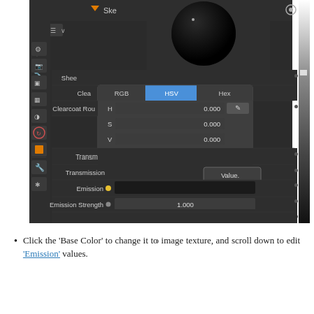[Figure (screenshot): Blender 3D software interface showing material properties panel with HSV color picker popup open. Shows properties for Emission, Emission Strength (1.000), Alpha (1.000, highlighted blue), and Normal (Default). HSV popup displays H:0.000, S:0.000, V:0.000, A:1.000. A tooltip shows 'Value.' text.]
Click the 'Base Color' to change it to image texture, and scroll down to edit 'Emission' values.